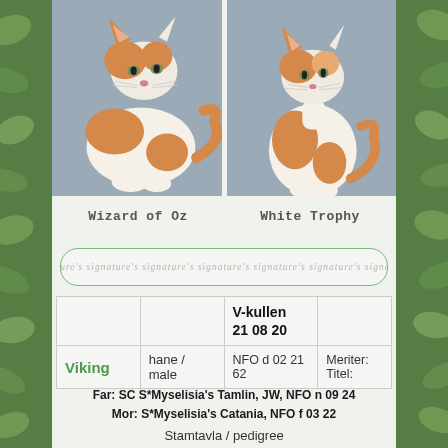[Figure (photo): Two orange and white Norwegian Forest Cat kittens photographed on gray background. Left kitten is 'Wizard of Oz', right kitten is 'White Trophy'.]
Wizard of Oz
White Trophy
signature's signature's signature's signature's signature's signature's signature's signature's signature's
|  |  | V-kullen
21 08 20 |  |
| Viking | hane / male | NFO d 02 21 62 | Meriter:
Titel: |
Far: SC S*Myselisia's Tamlin, JW, NFO n 09 24
Mor: S*Myselisia's Catania, NFO f 03 22
Stamtavla / pedigree